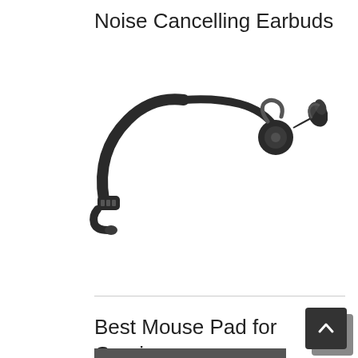Noise Cancelling Earbuds
[Figure (photo): Bose QuietControl 30 wireless neckband noise cancelling earbuds in black, with neckband and earbud tips visible, on white background]
Best Mouse Pad for Gaming